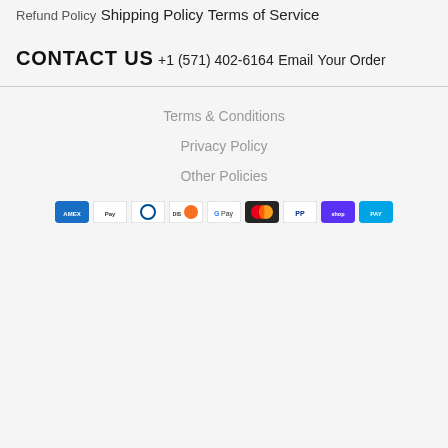Refund Policy
Shipping Policy
Terms of Service
CONTACT US
+1 (571) 402-6164
Email
Your Order
Terms & Conditions
Privacy Policy
Other Policies
[Figure (other): Row of payment method icons including American Express, Apple Pay, Diners Club, Discover, Google Pay, Mastercard, PayPal, Shop Pay, and another provider]